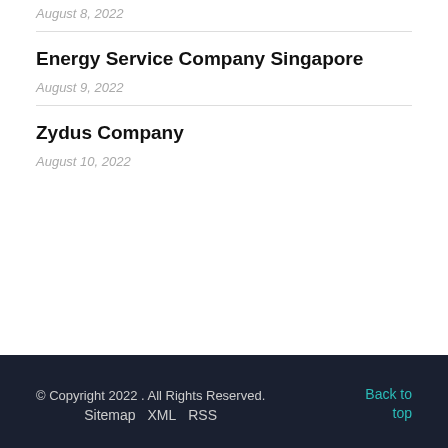August 8, 2022
Energy Service Company Singapore
August 9, 2022
Zydus Company
August 10, 2022
© Copyright 2022 . All Rights Reserved.  Sitemap  XML  RSS   Back to top